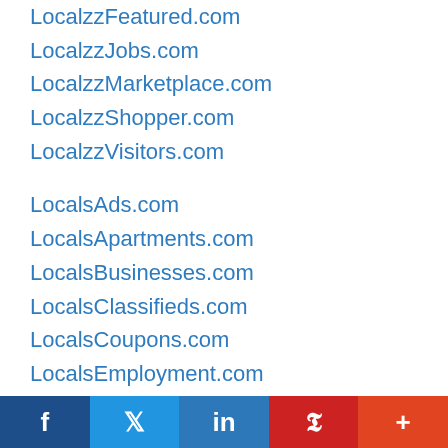LocalzzFeatured.com
LocalzzJobs.com
LocalzzMarketplace.com
LocalzzShopper.com
LocalzzVisitors.com
LocalsAds.com
LocalsApartments.com
LocalsBusinesses.com
LocalsClassifieds.com
LocalsCoupons.com
LocalsEmployment.com
LocalsFeatured.com
LocalsEvents.com
LocalsRentals.com
LocalsMarketplace.com
LocalsShopper.com
f  🐦  in  P  +